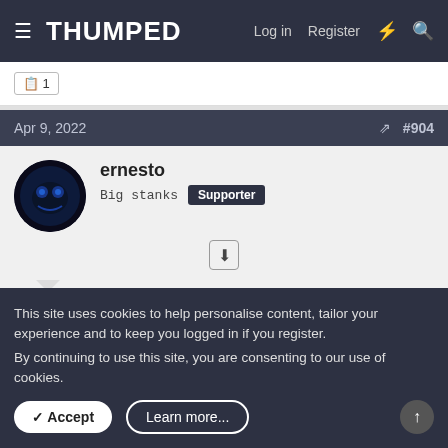THUMPED — Log in  Register
1
Apr 9, 2022  #904
ernesto
Big stanks  Supporter
Unicron said: ↑

Neil med sinus rinse dude, has been a big help to me. Once you get used to the experience it's grand.
This site uses cookies to help personalise content, tailor your experience and to keep you logged in if you register.
By continuing to use this site, you are consenting to our use of cookies.